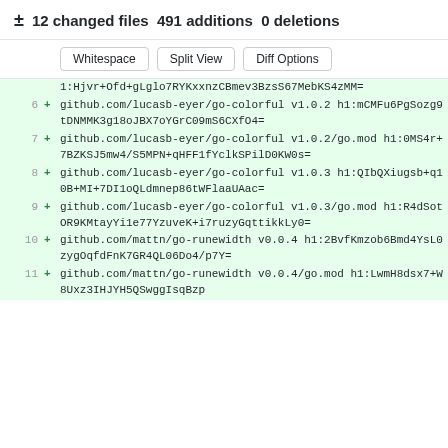± 12 changed files  491 additions  0 deletions
[Figure (screenshot): Git diff viewer showing buttons: Whitespace, Split View, Diff Options, and added lines 6-11 with github.com package references]
6 + github.com/lucasb-eyer/go-colorful v1.0.2 h1:mCMFu6PgSozg9tDNMMK3g18oJBX7oYGrC09mS6CXfO4=
7 + github.com/lucasb-eyer/go-colorful v1.0.2/go.mod h1:0MS4r+7BZKSJ5mw4/S5MPN+qHFF1fYclkSPilD0KW0s=
8 + github.com/lucasb-eyer/go-colorful v1.0.3 h1:QIbQXiugsb+q10B+MI+7DI1oQLdmnep86tWFlaaUAac=
9 + github.com/lucasb-eyer/go-colorful v1.0.3/go.mod h1:R4dSotOR9KMtayYi1e77YzuveK+i7ruzyGqttikkLy0=
10 + github.com/mattn/go-runewidth v0.0.4 h1:2BvfKmzob6Bmd4YsL0zygOqfdFnK7GR4QL06Do4/p7Y=
11 + github.com/mattn/go-runewidth v0.0.4/go.mod h1:LwmH8dsx7+W8Uxz3IHJYH5QSwggIsqBzp